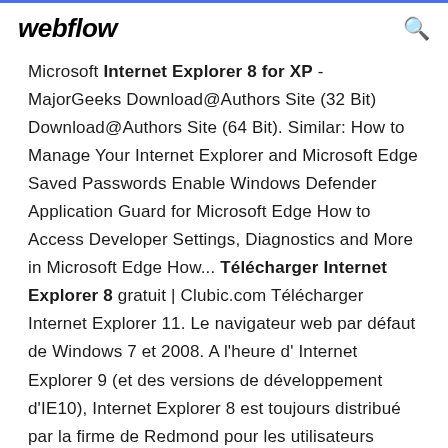webflow
Microsoft Internet Explorer 8 for XP - MajorGeeks Download@Authors Site (32 Bit) Download@Authors Site (64 Bit). Similar: How to Manage Your Internet Explorer and Microsoft Edge Saved Passwords Enable Windows Defender Application Guard for Microsoft Edge How to Access Developer Settings, Diagnostics and More in Microsoft Edge How... Télécharger Internet Explorer 8 gratuit | Clubic.com Télécharger Internet Explorer 11. Le navigateur web par défaut de Windows 7 et 2008. A l'heure d' Internet Explorer 9 (et des versions de développement d'IE10), Internet Explorer 8 est toujours distribué par la firme de Redmond pour les utilisateurs Windows XP SP2 (Windows